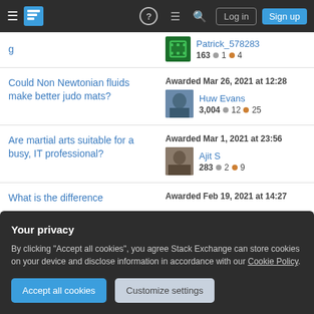Stack Exchange navigation bar with Log in and Sign up buttons
g — Patrick_578283 — 163 ● 1 ● 4
Could Non Newtonian fluids make better judo mats? — Awarded Mar 26, 2021 at 12:28 — Huw Evans — 3,004 ● 12 ● 25
Are martial arts suitable for a busy, IT professional? — Awarded Mar 1, 2021 at 23:56 — Ajit S — 283 ● 2 ● 9
What is the difference — Awarded Feb 19, 2021 at 14:27
Your privacy
By clicking "Accept all cookies", you agree Stack Exchange can store cookies on your device and disclose information in accordance with our Cookie Policy.
Accept all cookies   Customize settings